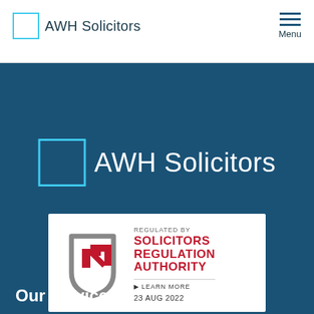AWH Solicitors | Menu
[Figure (logo): AWH Solicitors logo with cyan square border on dark blue background]
[Figure (logo): SRA badge: Regulated by Solicitors Regulation Authority, Learn More, 23 Aug 2022]
Our services